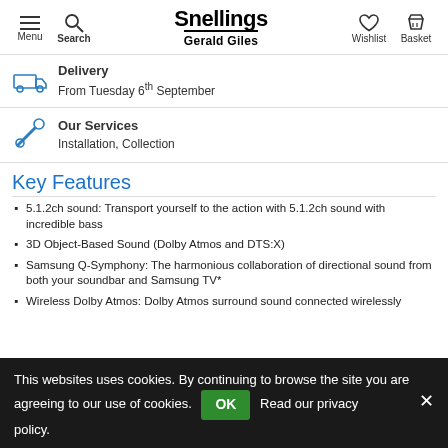Snellings Gerald Giles — Menu, Search, Wishlist, Basket navigation
Delivery
From Tuesday 6th September
Our Services
Installation, Collection
Key Features
5.1.2ch sound: Transport yourself to the action with 5.1.2ch sound with incredible bass
3D Object-Based Sound (Dolby Atmos and DTS:X)
Samsung Q-Symphony: The harmonious collaboration of directional sound from both your soundbar and Samsung TV*
Wireless Dolby Atmos: Dolby Atmos surround sound connected wirelessly
This websites uses cookies. By continuing to browse the site you are agreeing to our use of cookies. OK Read our privacy policy.